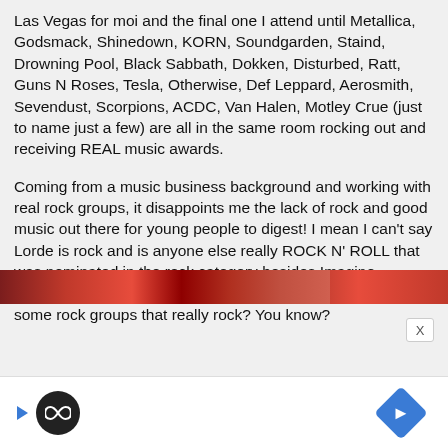Las Vegas for moi and the final one I attend until Metallica, Godsmack, Shinedown, KORN, Soundgarden, Staind, Drowning Pool, Black Sabbath, Dokken, Disturbed, Ratt, Guns N Roses, Tesla, Otherwise, Def Leppard, Aerosmith, Sevendust, Scorpions, ACDC, Van Halen, Motley Crue (just to name just a few) are all in the same room rocking out and receiving REAL music awards.
Coming from a music business background and working with real rock groups, it disappoints me the lack of rock and good music out there for young people to digest! I mean I can't say Lorde is rock and is anyone else really ROCK N' ROLL that was nominated in the rock category besides Imagine Dragons? Please, someone listen to radio and check out some rock groups that really rock? You know?
[Figure (other): Partial preview strip at bottom showing a reddish image, with an ad bar below containing a circular dark icon with infinity symbol, a blue play arrow, and a blue diamond navigation icon. An X close button appears top-right of the ad area.]